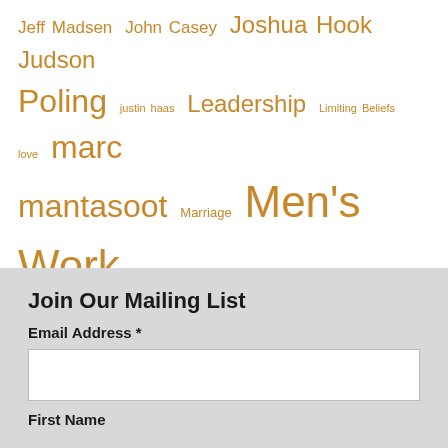[Figure (infographic): Tag cloud with names and topics in various sizes, all in golden-brown color. Terms include Jeff Madsen, John Casey, Joshua Hook, Judson Poling, justin haas, Leadership, Limiting Beliefs, love, marc mantasoot, Marriage, Men's Work, Peter Aldrich, Phil Jackson, Purpose/Vision/Mission, Redwoods, Relationships, Roy Wooten, Ryan Poling, Surrender, The Crucible Project, Tim White, Tony Bradburn, Truth, Walter Mendenhall]
Join Our Mailing List
Email Address *
First Name